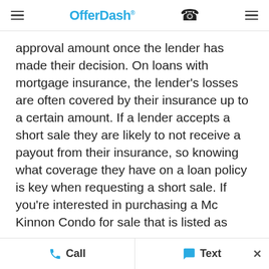OfferDash
approval amount once the lender has made their decision. On loans with mortgage insurance, the lender’s losses are often covered by their insurance up to a certain amount. If a lender accepts a short sale they are likely to not receive a payout from their insurance, so knowing what coverage they have on a loan policy is key when requesting a short sale. If you’re interested in purchasing a Mc Kinnon Condo for sale that is listed as
Call   Text